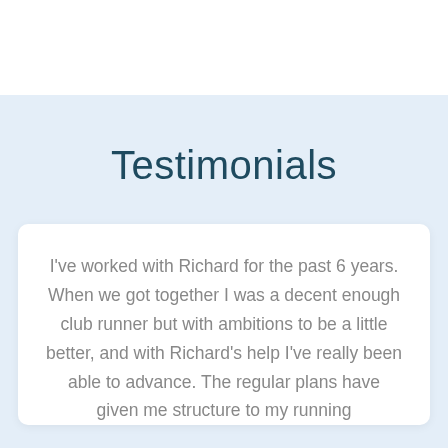Testimonials
I've worked with Richard for the past 6 years. When we got together I was a decent enough club runner but with ambitions to be a little better, and with Richard's help I've really been able to advance. The regular plans have given me structure to my running